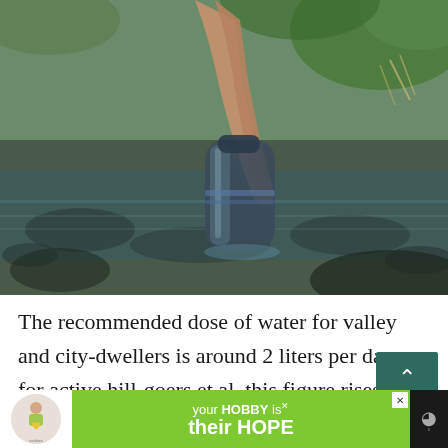[Figure (photo): A hand holding a water bottle being dipped into a rocky stream or shallow water, surrounded by green foliage and rocks. The image has a vintage/muted color tone.]
The recommended dose of water for valley and city-dwellers is around 2 liters per day; for active hill-goers et al. this figure rises incrementally in accordance with the extent of ou...
[Figure (infographic): Advertisement banner: 'cookies for kid cancer' logo on the left with a child holding a heart-shaped cookie. Center green section reads 'your HOBBY is their HOPE'. Close button (X) in top right corner. Dark right section with signal/wifi icon.]